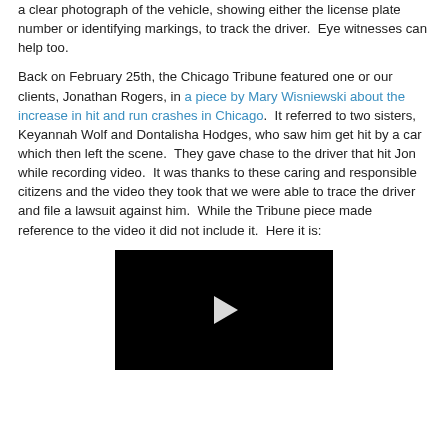a clear photograph of the vehicle, showing either the license plate number or identifying markings, to track the driver.  Eye witnesses can help too.
Back on February 25th, the Chicago Tribune featured one or our clients, Jonathan Rogers, in a piece by Mary Wisniewski about the increase in hit and run crashes in Chicago.  It referred to two sisters, Keyannah Wolf and Dontalisha Hodges, who saw him get hit by a car which then left the scene.  They gave chase to the driver that hit Jon while recording video.  It was thanks to these caring and responsible citizens and the video they took that we were able to trace the driver and file a lawsuit against him.  While the Tribune piece made reference to the video it did not include it.  Here it is:
[Figure (other): Embedded video player with black background and white play button triangle in the center]